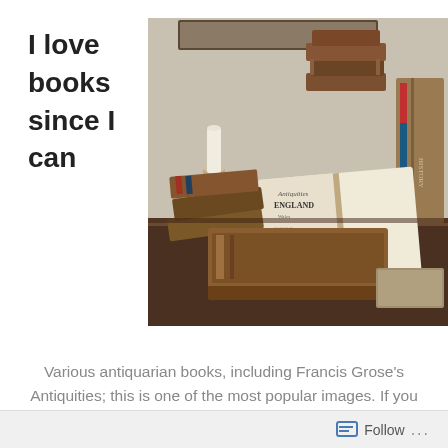I love books since I can
[Figure (photo): Various old antiquarian leather-bound books stacked on a wooden table, including an open book and a candle holder, with a framed mirror in background.]
Various antiquarian books, including Francis Grose's Antiquities; this is one of the most popular images. If you want to use it, please copy it and host it on your own site. It'd be nice if you linked back to here, though. I still have the original image from the camera, if you want to experiment with...
Follow ...